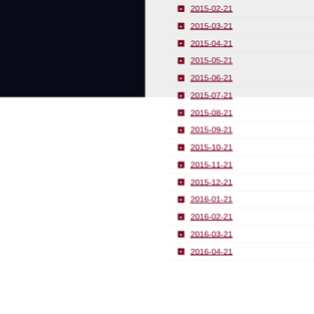[Figure (screenshot): Dark navy/black panel on the left side of the page]
2015-02-21
2015-03-21
2015-04-21
2015-05-21
2015-06-21
2015-07-21
2015-08-21
2015-09-21
2015-10-21
2015-11-21
2015-12-21
2016-01-21
2016-02-21
2016-03-21
2016-04-21